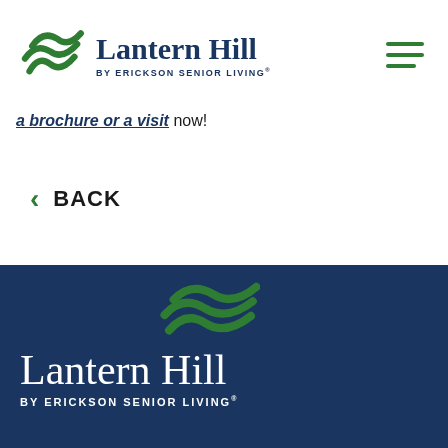[Figure (logo): Lantern Hill by Erickson Senior Living logo with green wave icon, dark navy text, top header]
a brochure or a visit now!
< BACK
[Figure (logo): Lantern Hill by Erickson Senior Living footer logo with green wave icon on dark navy background, white text]